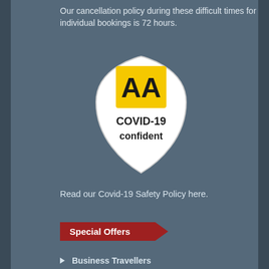Our cancellation policy during these difficult times for individual bookings is 72 hours.
[Figure (logo): AA COVID-19 confident shield logo. White shield shape with a yellow square at top containing bold black 'AA' text, and below that black text reading 'COVID-19 confident'.]
Read our Covid-19 Safety Policy here.
Special Offers
Business Travellers
Weekend Shopping Breaks
Dinner Promotions